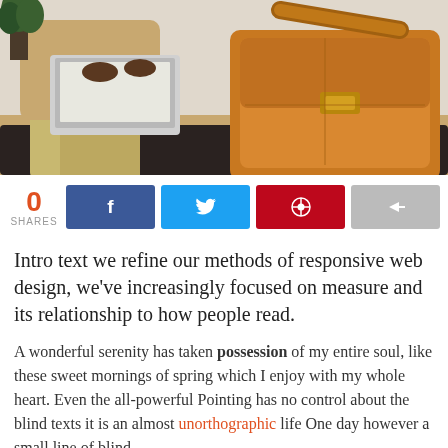[Figure (photo): Person sitting with a laptop and a tan/orange leather messenger bag on a dark surface, indoor setting]
0 SHARES | Facebook share | Twitter share | Pinterest share | Share button
Intro text we refine our methods of responsive web design, we've increasingly focused on measure and its relationship to how people read.
A wonderful serenity has taken possession of my entire soul, like these sweet mornings of spring which I enjoy with my whole heart. Even the all-powerful Pointing has no control about the blind texts it is an almost unorthographic life One day however a small line of blind